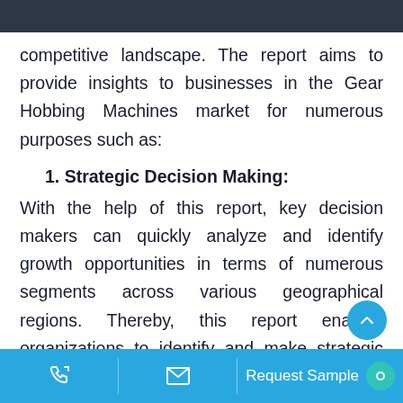competitive landscape. The report aims to provide insights to businesses in the Gear Hobbing Machines market for numerous purposes such as:
1. Strategic Decision Making:
With the help of this report, key decision makers can quickly analyze and identify growth opportunities in terms of numerous segments across various geographical regions. Thereby, this report enables organizations to identify and make strategic investments in specific market segments in order to gain maximum return